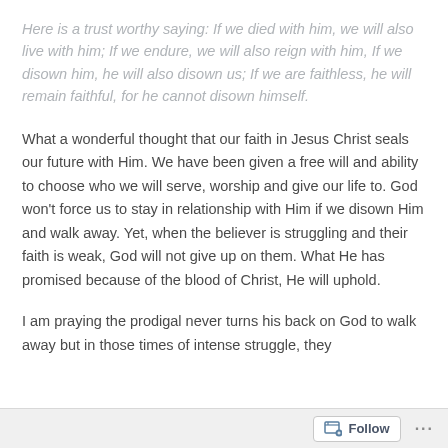Here is a trust worthy saying: If we died with him, we will also live with him; If we endure, we will also reign with him, If we disown him, he will also disown us; If we are faithless, he will remain faithful, for he cannot disown himself.
What a wonderful thought that our faith in Jesus Christ seals our future with Him. We have been given a free will and ability to choose who we will serve, worship and give our life to. God won't force us to stay in relationship with Him if we disown Him and walk away. Yet, when the believer is struggling and their faith is weak, God will not give up on them. What He has promised because of the blood of Christ, He will uphold.
I am praying the prodigal never turns his back on God to walk away but in those times of intense struggle, they...
Follow ...